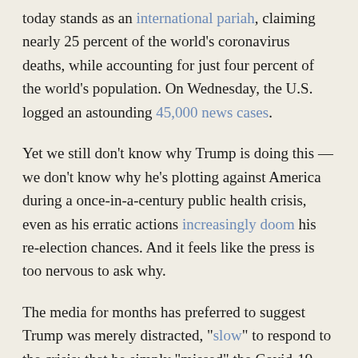today stands as an international pariah, claiming nearly 25 percent of the world's coronavirus deaths, while accounting for just four percent of the world's population. On Wednesday, the U.S. logged an astounding 45,000 news cases.
Yet we still don't know why Trump is doing this — we don't know why he's plotting against America during a once-in-a-century public health crisis, even as his erratic actions increasingly doom his re-election chances. And it feels like the press is too nervous to ask why.
The media for months has preferred to suggest Trump was merely distracted, "slow" to respond to the crisis; that he simply "missed" the Covid-19 warnings. Trump "ignored" crucial warnings, the Associated Press recently concluded, noting that key aides were unable